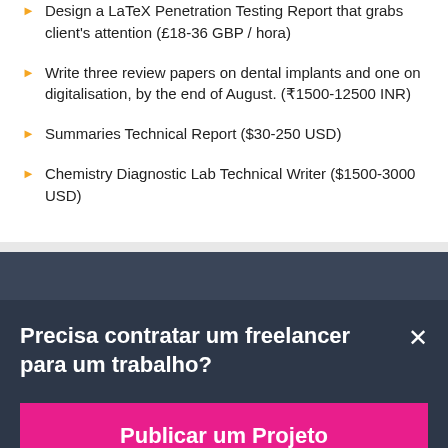Design a LaTeX Penetration Testing Report that grabs client's attention (£18-36 GBP / hora)
Write three review papers on dental implants and one on digitalisation, by the end of August. (₹1500-12500 INR)
Summaries Technical Report ($30-250 USD)
Chemistry Diagnostic Lab Technical Writer ($1500-3000 USD)
Precisa contratar um freelancer para um trabalho?
Publicar um Projeto